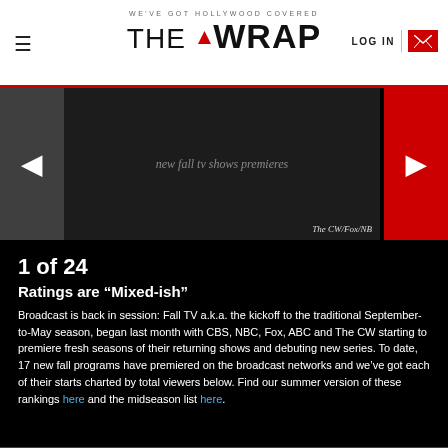WE'VE GOT HOLLYWOOD COVERED — THE WRAP | LOG IN
[Figure (photo): Slideshow image of new fall TV shows premieres with navigation arrows. Left arrow gray button, right arrow red button. Credit: The CW/Fox/NB]
1 of 24
Ratings are “Mixed-ish”
Broadcast is back in session: Fall TV a.k.a. the kickoff to the traditional September-to-May season, began last month with CBS, NBC, Fox, ABC and The CW starting to premiere fresh seasons of their returning shows and debuting new series. To date, 17 new fall programs have premiered on the broadcast networks and we’ve got each of their starts charted by total viewers below. Find our summer version of these rankings here and the midseason list here.